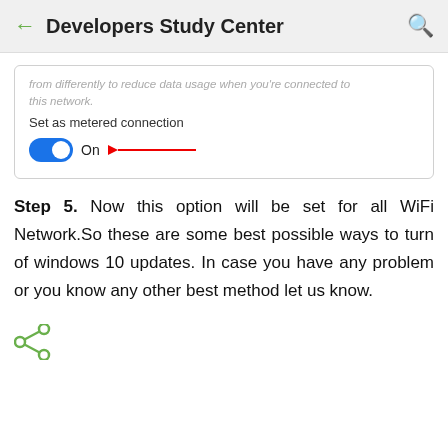Developers Study Center
[Figure (screenshot): Windows settings screenshot showing 'Set as metered connection' toggle switched On, with a red arrow annotation pointing to the On label.]
Step 5. Now this option will be set for all WiFi Network.So these are some best possible ways to turn of windows 10 updates. In case you have any problem or you know any other best method let us know.
[Figure (other): Share icon (green)]